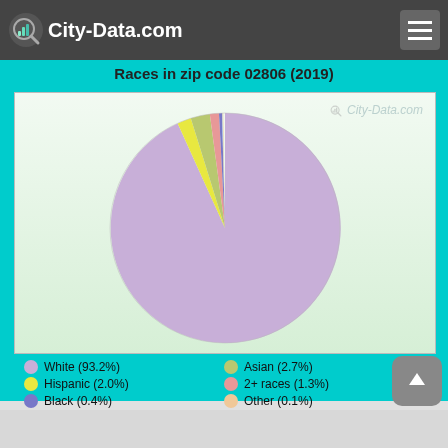City-Data.com
Races in zip code 02806 (2019)
[Figure (pie-chart): Races in zip code 02806 (2019)]